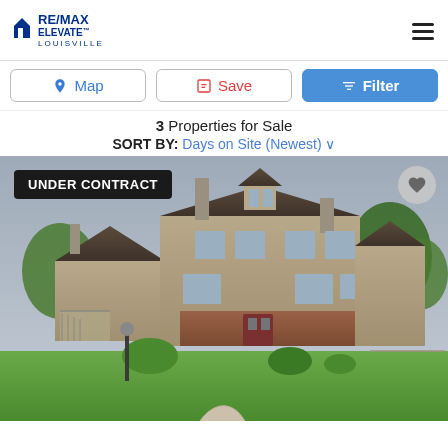[Figure (logo): RE/MAX ELEVATE LOUISVILLE logo with red and blue house icon]
Map
Save
Filter
3 Properties for Sale
SORT BY: Days on Site (Newest)
[Figure (photo): Exterior photo of a two-story tan/brick townhome with chimneys, green lawn, curved walkway, and trees. Badge: UNDER CONTRACT.]